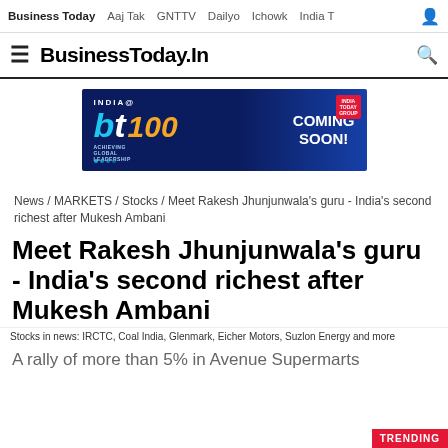Business Today   Aaj Tak   GNTTV   Dailyo   Ichowk   India T
BusinessToday.In
[Figure (infographic): bt INDIA@100 COMING SOON! advertisement banner with dark blue background]
News / MARKETS / Stocks / Meet Rakesh Jhunjunwala's guru - India's second richest after Mukesh Ambani
Meet Rakesh Jhunjunwala's guru - India's second richest after Mukesh Ambani
Stocks in news: IRCTC, Coal India, Glenmark, Eicher Motors, Suzlon Energy and more
A rally of more than 5% in Avenue Supermarts